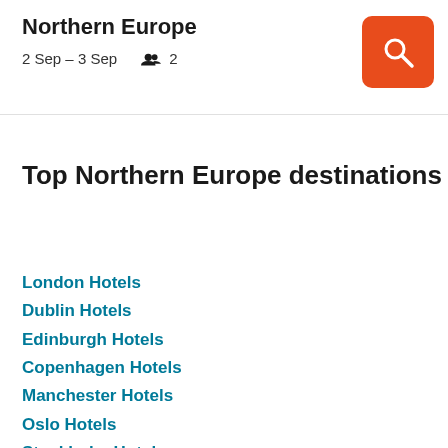Northern Europe
2 Sep – 3 Sep   👥 2
Top Northern Europe destinations
London Hotels
Dublin Hotels
Edinburgh Hotels
Copenhagen Hotels
Manchester Hotels
Oslo Hotels
Stockholm Hotels
Glasgow Hotels
Reykjavik Hotels